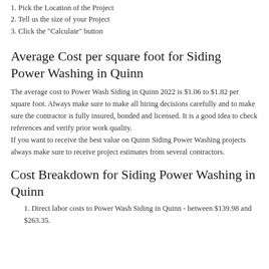1. Pick the Location of the Project
2. Tell us the size of your Project
3. Click the "Calculate" button
Average Cost per square foot for Siding Power Washing in Quinn
The average cost to Power Wash Siding in Quinn 2022 is $1.06 to $1.82 per square foot. Always make sure to make all hiring decisions carefully and to make sure the contractor is fully insured, bonded and licensed. It is a good idea to check references and verify prior work quality. If you want to receive the best value on Quinn Siding Power Washing projects always make sure to receive project estimates from several contractors.
Cost Breakdown for Siding Power Washing in Quinn
1. Direct labor costs to Power Wash Siding in Quinn - between $139.98 and $263.35.